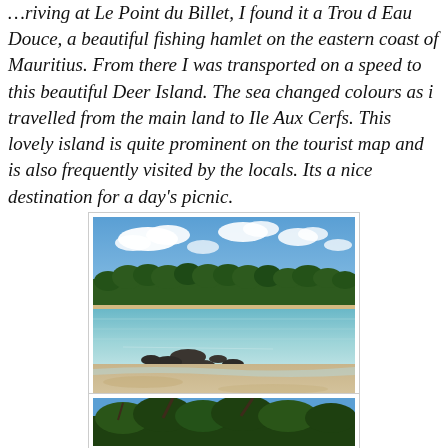…riving at Le Point du Billet, I found it a Trou d Eau Douce, a beautiful fishing hamlet on the eastern coast of Mauritius. From there I was transported on a speed to this beautiful Deer Island. The sea changed colours as i travelled from the main land to Ile Aux Cerfs. This lovely island is quite prominent on the tourist map and is also frequently visited by the locals. Its a nice destination for a day's picnic.
[Figure (photo): Beach scene at Ile Aux Cerfs (Deer Island), Mauritius. Sandy beach with clear shallow water in the foreground, dark rocky outcrop, and a dense line of green trees along the island in the background under a blue sky with white clouds.]
[Figure (photo): Partial view of tree foliage and branches against a blue sky, likely at Ile Aux Cerfs, Mauritius.]